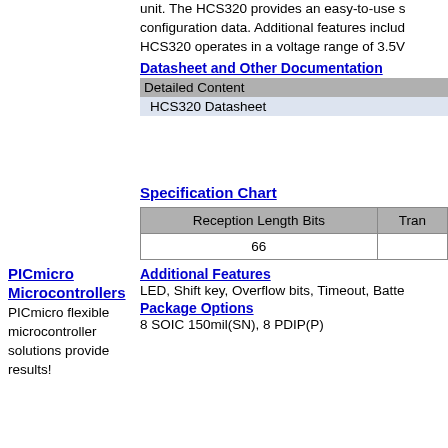unit. The HCS320 provides an easy-to-use s configuration data. Additional features includ HCS320 operates in a voltage range of 3.5V
Datasheet and Other Documentation
| Detailed Content |
| --- |
| HCS320 Datasheet |
Specification Chart
| Reception Length Bits | Tran |
| --- | --- |
| 66 |  |
Additional Features
LED, Shift key, Overflow bits, Timeout, Batte
Package Options
8 SOIC 150mil(SN), 8 PDIP(P)
PICmicro Microcontrollers
PICmicro flexible microcontroller solutions provide results!